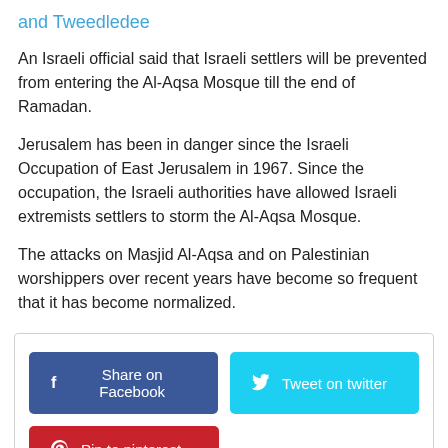and Tweedledee
An Israeli official said that Israeli settlers will be prevented from entering the Al-Aqsa Mosque till the end of Ramadan.
Jerusalem has been in danger since the Israeli Occupation of East Jerusalem in 1967. Since the occupation, the Israeli authorities have allowed Israeli extremists settlers to storm the Al-Aqsa Mosque.
The attacks on Masjid Al-Aqsa and on Palestinian worshippers over recent years have become so frequent that it has become normalized.
[Figure (other): Social share buttons: Share on Facebook (blue), Tweet on twitter (cyan), Pin to pinterest (red)]